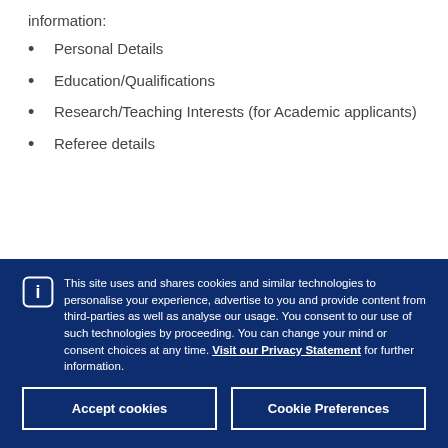information:
Personal Details
Education/Qualifications
Research/Teaching Interests (for Academic applicants)
Referee details
This site uses and shares cookies and similar technologies to personalise your experience, advertise to you and provide content from third-parties as well as analyse our usage. You consent to our use of such technologies by proceeding. You can change your mind or consent choices at any time. Visit our Privacy Statement for further information.
Accept cookies
Cookie Preferences